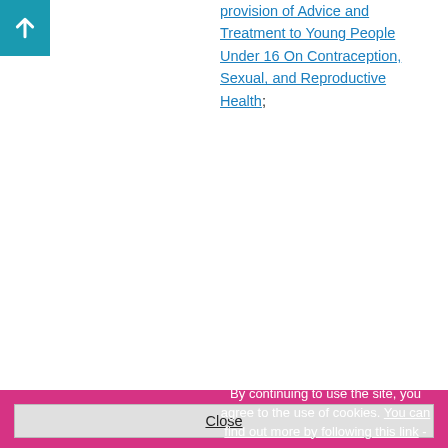provision of Advice and Treatment to Young People Under 16 On Contraception, Sexual, and Reproductive Health;
Any local guidance which exists.
35.8.18   As set out in Working Together 2018  the purpose of
By continuing to use the site, you agree to the use of cookies. You can find out more by following this link -
Close